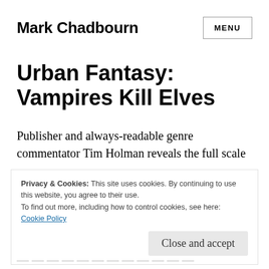Mark Chadbourn    MENU
Urban Fantasy: Vampires Kill Elves
Publisher and always-readable genre commentator Tim Holman reveals the full scale
Privacy & Cookies: This site uses cookies. By continuing to use this website, you agree to their use.
To find out more, including how to control cookies, see here:
Cookie Policy
Close and accept
(truncated bottom text)